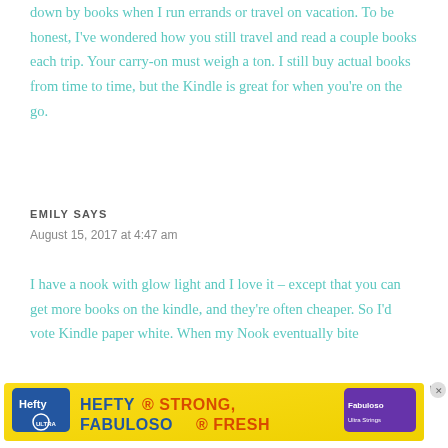down by books when I run errands or travel on vacation. To be honest, I've wondered how you still travel and read a couple books each trip. Your carry-on must weigh a ton. I still buy actual books from time to time, but the Kindle is great for when you're on the go.
EMILY SAYS
August 15, 2017 at 4:47 am
I have a nook with glow light and I love it – except that you can get more books on the kindle, and they're often cheaper. So I'd vote Kindle paper white. When my Nook eventually bite the
[Figure (other): Hefty advertisement banner: 'HEFTY STRONG, FABULOSO FRESH' with Hefty logo and Fabuloso branding on yellow background]